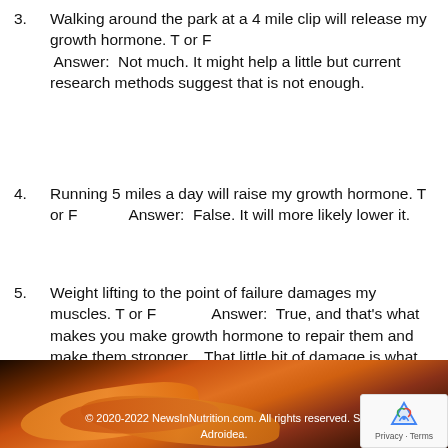3. Walking around the park at a 4 mile clip will release my growth hormone. T or F  Answer:  Not much. It might help a little but current research methods suggest that is not enough.
4. Running 5 miles a day will raise my growth hormone. T or F        Answer:  False. It will more likely lower it.
5. Weight lifting to the point of failure damages my muscles. T or F             Answer:  True, and that's what makes you make growth hormone to repair them and make them stronger.   That little bit of damage is what you want.
© 2020-2022 NewsInNutrition.com. All rights reserved. Si... Adroidea.